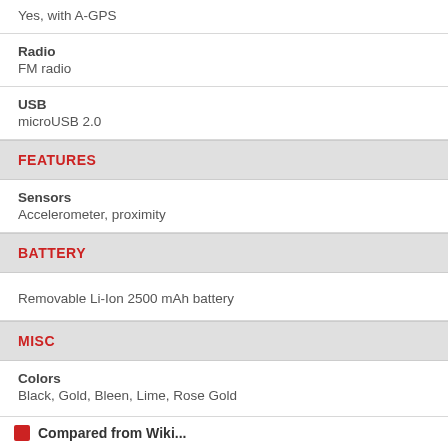Yes, with A-GPS
Radio
FM radio
USB
microUSB 2.0
FEATURES
Sensors
Accelerometer, proximity
BATTERY
Removable Li-Ion 2500 mAh battery
MISC
Colors
Black, Gold, Bleen, Lime, Rose Gold
Compared from Wiki...